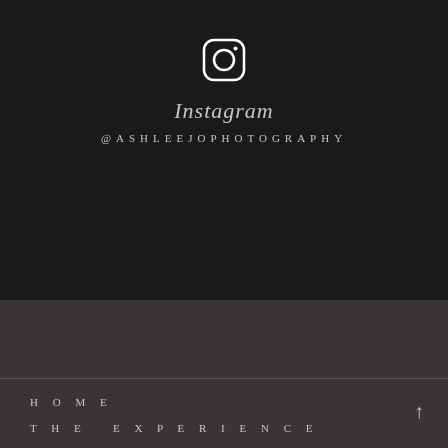[Figure (logo): Instagram app icon — rounded square outline with camera lens circle and viewfinder dot, rendered in white outline style]
Instagram
@ASHLEEJOPHOTOGRAPHY
HOME
THE EXPERIENCE